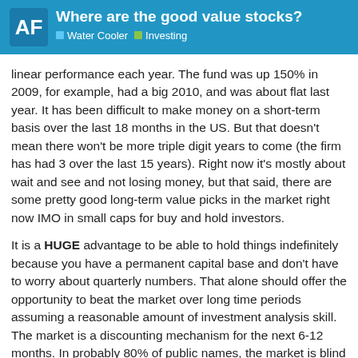AF | Where are the good value stocks? | Water Cooler | Investing
linear performance each year. The fund was up 150% in 2009, for example, had a big 2010, and was about flat last year. It has been difficult to make money on a short-term basis over the last 18 months in the US. But that doesn't mean there won't be more triple digit years to come (the firm has had 3 over the last 15 years). Right now it's mostly about wait and see and not losing money, but that said, there are some pretty good long-term value picks in the market right now IMO in small caps for buy and hold investors.
It is a HUGE advantage to be able to hold things indefinitely because you have a permanent capital base and don't have to worry about quarterly numbers. That alone should offer the opportunity to beat the market over long time periods assuming a reasonable amount of investment analysis skill. The market is a discounting mechanism for the next 6-12 months. In probably 80% of public names, the market is blind or close to blind beyond that point.
18 / 77